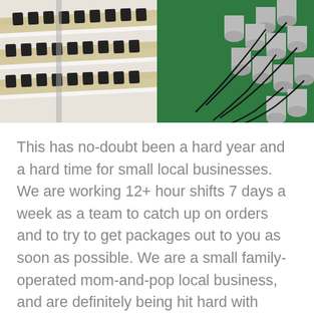[Figure (photo): Two side-by-side photos: left shows rows of electronic components (black sensor modules) on beige PCB strips arranged on a white surface; right shows multiple cylindrical metal components with black wires arranged on a green surface.]
This has no-doubt been a hard year and a hard time for small local businesses. We are working 12+ hour shifts 7 days a week as a team to catch up on orders and to try to get packages out to you as soon as possible. We are a small family-operated mom-and-pop local business, and are definitely being hit hard with these delays. Our team has been